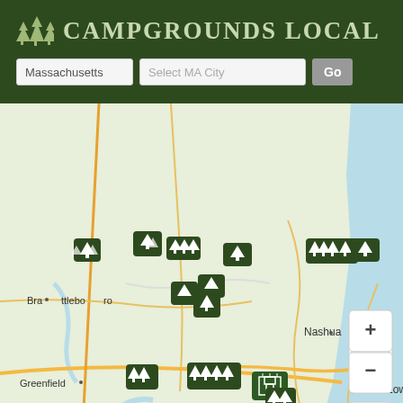Campgrounds Local
[Figure (map): Interactive map of Massachusetts and surrounding area showing campground locations as green tree icons via Mapbox. Cities labeled include Brattleboro, Greenfield, Nashua, Lowell, Leominster, Gloucester, Boston, and Newburyport. Map includes zoom controls (+/-), compass, and info button.]
mapbox